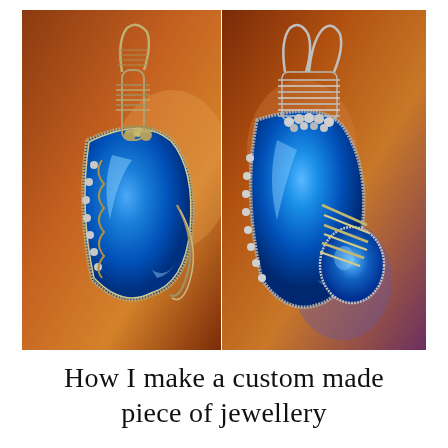[Figure (photo): Two side-by-side photos of handmade wire-wrapped jewelry pendants featuring vivid blue agate/gemstone stones wrapped in intricate silver/gold wire work, displayed against a warm brown wooden background.]
How I make a custom made piece of jewellery